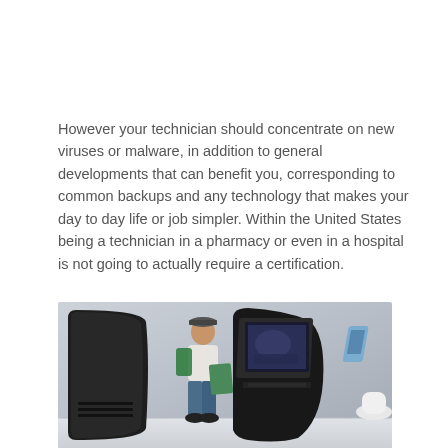However your technician should concentrate on new viruses or malware, in addition to general developments that can benefit you, corresponding to common backups and any technology that makes your day to day life or job simpler. Within the United States being a technician in a pharmacy or even in a hospital is not going to actually require a certification.
[Figure (photo): A person standing next to a futuristic curved kiosk workstation with a monitor screen. The kiosk has a curved black panel on the left and a monitor on the right. A small device is visible on the far right. The background is light grey.]